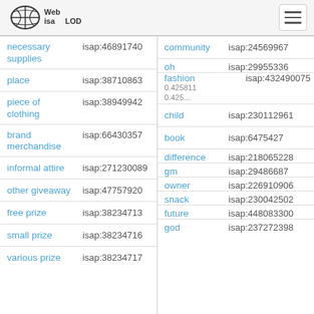[Figure (logo): Web ISA LOD logo with globe icon]
| term | isap |
| --- | --- |
| necessary supplies | isap:46891740 |
| place | isap:38710863 |
| piece of clothing | isap:38949942 |
| brand merchandise | isap:66430357 |
| informal attire | isap:271230089 |
| other giveaway | isap:47757920 |
| free prize | isap:38234713 |
| small prize | isap:38234716 |
| various prize | isap:38234717 |
| term | isap |
| --- | --- |
| community | isap:24569967 |
| oh | isap:29955336 |
| fashion | isap:432490075 |
| child | isap:230112961 |
| book | isap:6475427 |
| difference | isap:218065228 |
| gm | isap:29486687 |
| owner | isap:226910906 |
| snack | isap:230042502 |
| future | isap:448083300 |
| god | isap:237272398 |